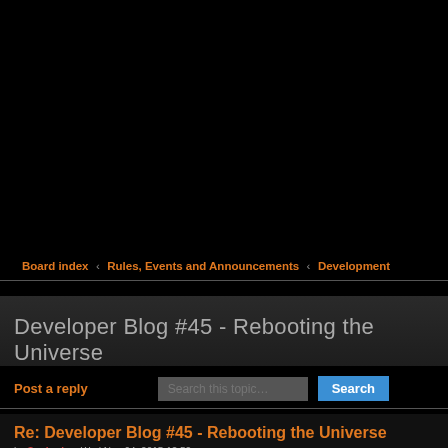Board index ‹ Rules, Events and Announcements ‹ Development
Developer Blog #45 - Rebooting the Universe
Post a reply
Re: Developer Blog #45 - Rebooting the Universe
by Synharia » Wed Nov 04, 2015 12:52 pm